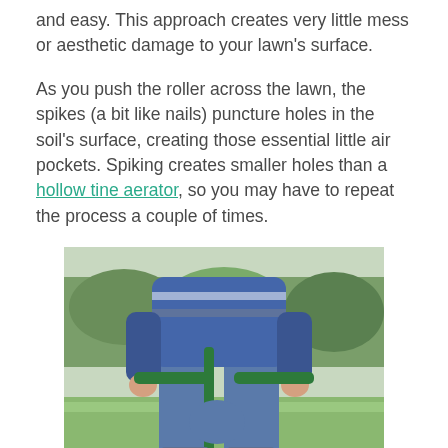and easy. This approach creates very little mess or aesthetic damage to your lawn's surface.
As you push the roller across the lawn, the spikes (a bit like nails) puncture holes in the soil's surface, creating those essential little air pockets. Spiking creates smaller holes than a hollow tine aerator, so you may have to repeat the process a couple of times.
[Figure (photo): A person using a lawn spike roller aerator tool on a green lawn, holding the handle with both hands and pressing it down with their knee. Garden vegetation visible in background.]